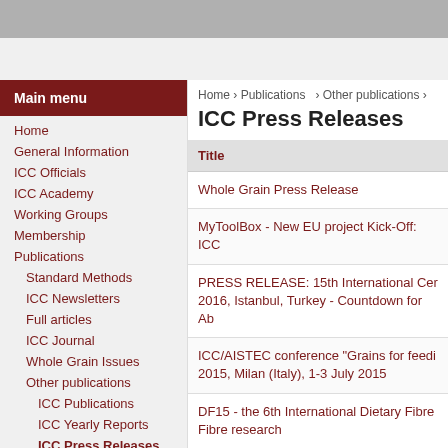Main menu
Home
General Information
ICC Officials
ICC Academy
Working Groups
Membership
Publications
Standard Methods
ICC Newsletters
Full articles
ICC Journal
Whole Grain Issues
Other publications
ICC Publications
ICC Yearly Reports
ICC Press Releases
Events
Home › Publications › Other publications ›
ICC Press Releases
| Title |
| --- |
| Whole Grain Press Release |
| MyToolBox - New EU project Kick-Off: ICC... |
| PRESS RELEASE: 15th International Cer... 2016, Istanbul, Turkey - Countdown for Ab... |
| ICC/AISTEC conference "Grains for feedi... 2015, Milan (Italy), 1-3 July 2015 |
| DF15 - the 6th International Dietary Fibre ... Fibre research |
| PRESS RELEASE: 6th International Dieta... 1-3 June 2015 - Final programme now ava... |
| PRESS RELEASE: ... |